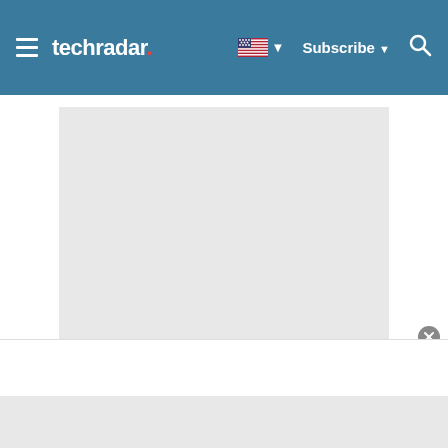techradar | Subscribe
[Figure (photo): Gray placeholder image block for an article image]
That brings us to the other half of Wisdom – listening to other peoples' talks. When you launch the app